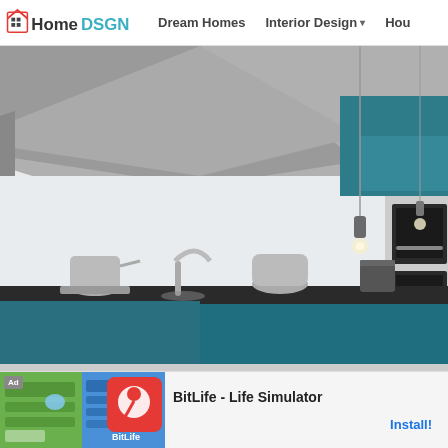HomeDSGN — Dream Homes | Interior Design | Hou...
[Figure (photo): Modern kitchen interior with teal/blue cabinetry, concrete angled ceiling beam, pendant light bulb hanging from ceiling, stainless steel kettle and sink on counter, built-in oven on right wall, white walls and light gray floor.]
[Figure (screenshot): Advertisement banner for BitLife - Life Simulator app, showing app icon and promotional images with green/blue game screenshots and red BitLife icon.]